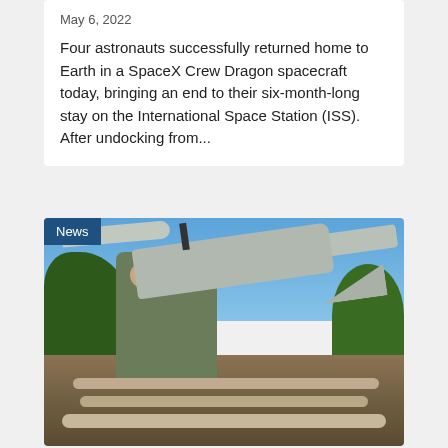May 6, 2022
Four astronauts successfully returned home to Earth in a SpaceX Crew Dragon spacecraft today, bringing an end to their six-month-long stay on the International Space Station (ISS). After undocking from...
[Figure (photo): A soldier in military camouflage uniform holding up a gray fixed-wing drone/UAV overhead against a blue sky with trees in background. A 'News' badge appears in the top-left corner of the image.]